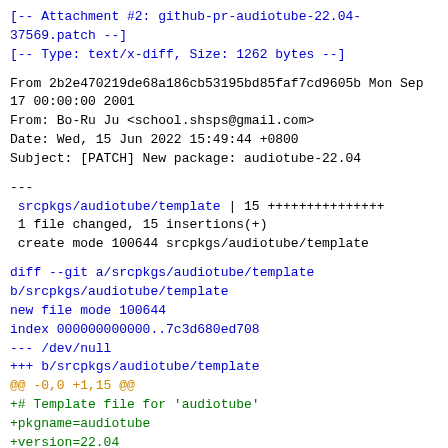[-- Attachment #2: github-pr-audiotube-22.04-37569.patch --]
[-- Type: text/x-diff, Size: 1262 bytes --]
From 2b2e470219de68a186cb53195bd85faf7cd9605b Mon Sep 17 00:00:00 2001
From: Bo-Ru Ju <school.shsps@gmail.com>
Date: Wed, 15 Jun 2022 15:49:44 +0800
Subject: [PATCH] New package: audiotube-22.04
---
 srcpkgs/audiotube/template | 15 +++++++++++++++
 1 file changed, 15 insertions(+)
 create mode 100644 srcpkgs/audiotube/template
diff --git a/srcpkgs/audiotube/template b/srcpkgs/audiotube/template
new file mode 100644
index 000000000000..7c3d680ed708
--- /dev/null
+++ b/srcpkgs/audiotube/template
@@ -0,0 +1,15 @@
+# Template file for 'audiotube'
+pkgname=audiotube
+version=22.04
+revision=1
+build_style=cmake
+configure_args="-DCMAKE_PREFIX_PATH=/usr/lib/python3.10/site-packages/pybind11/share/cmake"